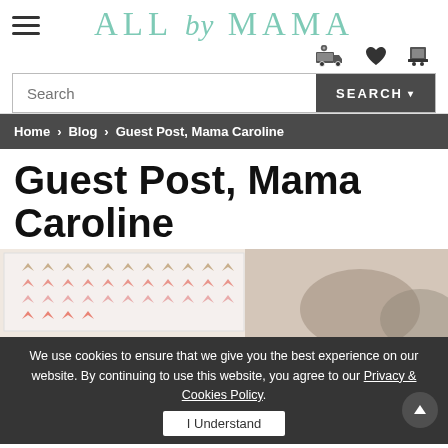ALL by MAMA
Search | SEARCH
Home > Blog > Guest Post, Mama Caroline
Guest Post, Mama Caroline
[Figure (photo): A wall art display of colorful origami butterflies pinned in rows on a white background.]
We use cookies to ensure that we give you the best experience on our website. By continuing to use this website, you agree to our Privacy & Cookies Policy. I Understand